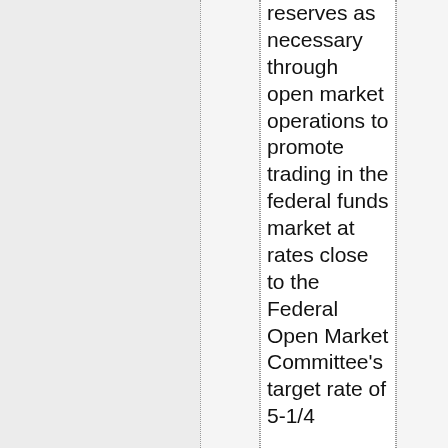reserves as necessary through open market operations to promote trading in the federal funds market at rates close to the Federal Open Market Committee's target rate of 5-1/4